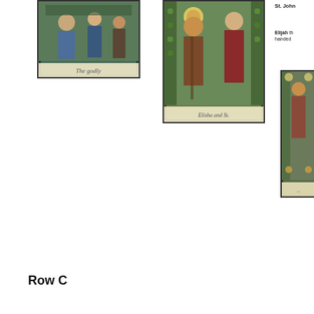[Figure (photo): Stained glass window panel showing robed figures, with text 'The godly' at bottom]
[Figure (photo): Stained glass window panel showing two figures, one with halo holding a staff, text 'Elisha and St.' at bottom]
St. John
Elijah the handed
[Figure (photo): Partial stained glass window panel showing figures on right edge]
Row C